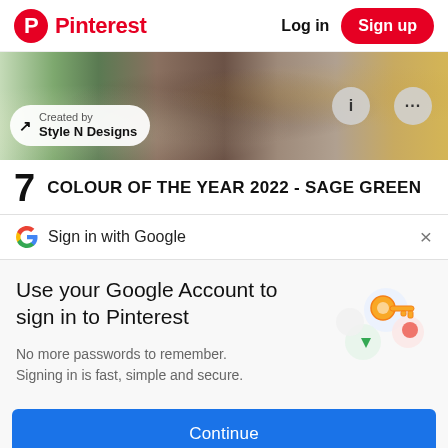Pinterest  Log in  Sign up
[Figure (screenshot): Decorative image strip showing home decor elements including sage green items, wicker basket, and golden vessels. Overlaid with a pill-shaped badge reading 'Created by Style N Designs' and two circular icon buttons (i and ...)]
7  COLOUR OF THE YEAR 2022 - SAGE GREEN
Sign in with Google  ×
Use your Google Account to sign in to Pinterest
No more passwords to remember. Signing in is fast, simple and secure.
Continue